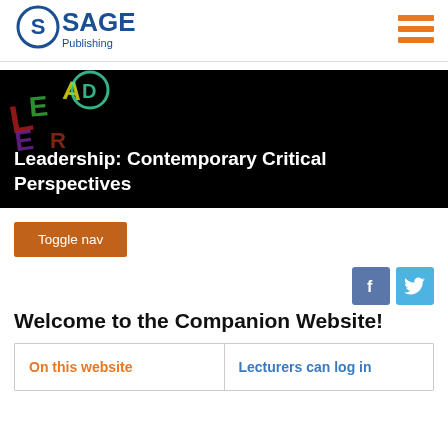[Figure (logo): SAGE Publishing logo — blue circle with S, text SAGE Publishing in blue]
[Figure (illustration): Hamburger menu icon with three orange horizontal bars]
[Figure (photo): Black banner with colorful glowing letter shapes in top-left corner]
Leadership: Contemporary Critical Perspectives
Toggle nav
[Figure (illustration): Facebook icon — blue square with white f]
[Figure (illustration): Twitter icon — cyan square with white bird]
Welcome to the Companion Website!
On this website
Lecturers can log in